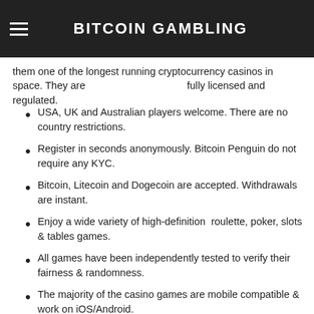BITCOIN GAMBLING
them one of the longest running cryptocurrency casinos in space. They are fully licensed and regulated.
USA, UK and Australian players welcome. There are no country restrictions.
Register in seconds anonymously. Bitcoin Penguin do not require any KYC.
Bitcoin, Litecoin and Dogecoin are accepted. Withdrawals are instant.
Enjoy a wide variety of high-definition roulette, poker, slots & tables games.
All games have been independently tested to verify their fairness & randomness.
The majority of the casino games are mobile compatible & work on iOS/Android.
24/7 support is available via live chat or email. Add 2FA for extra security.
Get 25 free spins when you create an account plus a